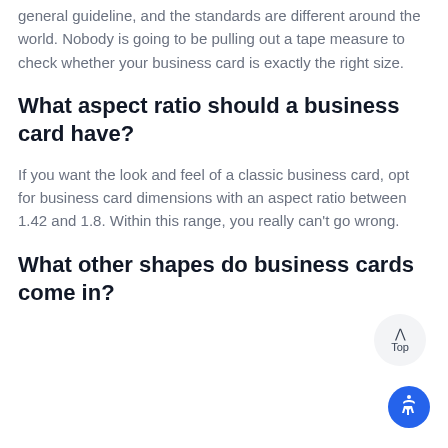general guideline, and the standards are different around the world. Nobody is going to be pulling out a tape measure to check whether your business card is exactly the right size.
What aspect ratio should a business card have?
If you want the look and feel of a classic business card, opt for business card dimensions with an aspect ratio between 1.42 and 1.8. Within this range, you really can't go wrong.
What other shapes do business cards come in?